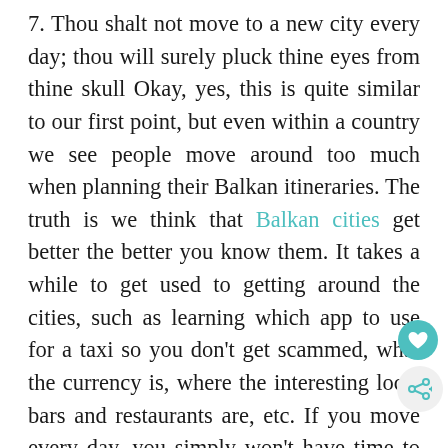7. Thou shalt not move to a new city every day; thou will surely pluck thine eyes from thine skull Okay, yes, this is quite similar to our first point, but even within a country we see people move around too much when planning their Balkan itineraries. The truth is we think that Balkan cities get better the better you know them. It takes a while to get used to getting around the cities, such as learning which app to use for a taxi so you don't get scammed, what the currency is, where the interesting local bars and restaurants are, etc. If you move every day, you simply won't have time to give the city a chance, and any slight inconvenience along the way will